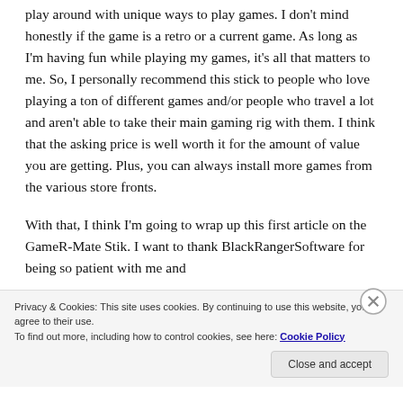play around with unique ways to play games. I don't mind honestly if the game is a retro or a current game. As long as I'm having fun while playing my games, it's all that matters to me. So, I personally recommend this stick to people who love playing a ton of different games and/or people who travel a lot and aren't able to take their main gaming rig with them. I think that the asking price is well worth it for the amount of value you are getting. Plus, you can always install more games from the various store fronts.
With that, I think I'm going to wrap up this first article on the GameR-Mate Stik. I want to thank BlackRangerSoftware for being so patient with me and
Privacy & Cookies: This site uses cookies. By continuing to use this website, you agree to their use.
To find out more, including how to control cookies, see here: Cookie Policy
Close and accept